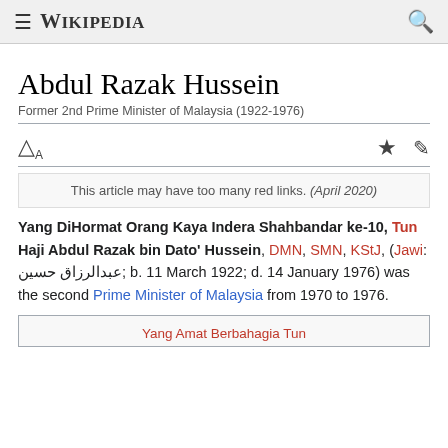Wikipedia
Abdul Razak Hussein
Former 2nd Prime Minister of Malaysia (1922-1976)
This article may have too many red links. (April 2020)
Yang DiHormat Orang Kaya Indera Shahbandar ke-10, Tun Haji Abdul Razak bin Dato' Hussein, DMN, SMN, KStJ, (Jawi: عبدالرزاق حسين; b. 11 March 1922; d. 14 January 1976) was the second Prime Minister of Malaysia from 1970 to 1976.
Yang Amat Berbahagia Tun